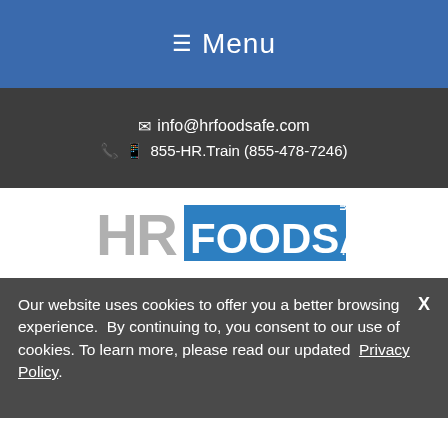☰ Menu
✉ info@hrfoodsafe.com
📞 855-HR.Train (855-478-7246)
[Figure (logo): HR FoodSafe logo: grey 'HR' letters followed by blue box with white 'FOODSAFE' and '.com' text]
Our website uses cookies to offer you a better browsing experience.  By continuing to, you consent to our use of cookies. To learn more, please read our updated  Privacy Policy.
Social share bar: Facebook, Twitter, SMS, Share, Messenger